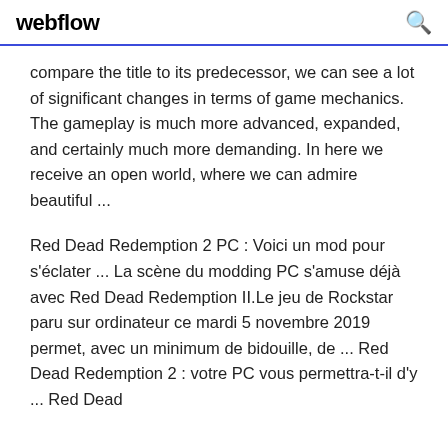webflow
compare the title to its predecessor, we can see a lot of significant changes in terms of game mechanics. The gameplay is much more advanced, expanded, and certainly much more demanding. In here we receive an open world, where we can admire beautiful ...
Red Dead Redemption 2 PC : Voici un mod pour s'éclater ... La scène du modding PC s'amuse déjà avec Red Dead Redemption II.Le jeu de Rockstar paru sur ordinateur ce mardi 5 novembre 2019 permet, avec un minimum de bidouille, de ... Red Dead Redemption 2 : votre PC vous permettra-t-il d'y ... Red Dead